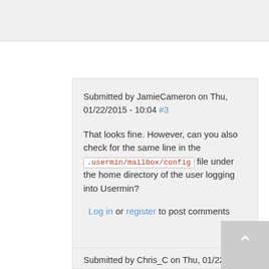Submitted by JamieCameron on Thu, 01/22/2015 - 10:04 #3
That looks fine. However, can you also check for the same line in the .usermin/mailbox/config file under the home directory of the user logging into Usermin?
Log in or register to post comments
Submitted by Chris_C on Thu, 01/22/2015